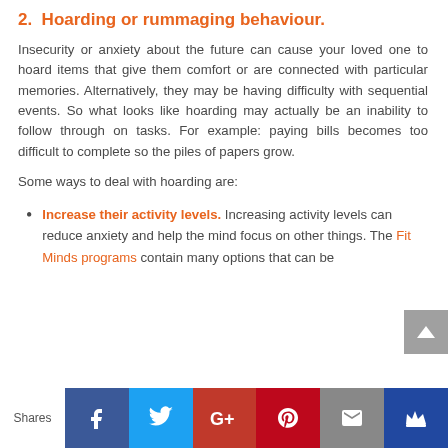2.  Hoarding or rummaging behaviour.
Insecurity or anxiety about the future can cause your loved one to hoard items that give them comfort or are connected with particular memories. Alternatively, they may be having difficulty with sequential events. So what looks like hoarding may actually be an inability to follow through on tasks. For example: paying bills becomes too difficult to complete so the piles of papers grow.
Some ways to deal with hoarding are:
Increase their activity levels. Increasing activity levels can reduce anxiety and help the mind focus on other things. The Fit Minds programs contain many options that can be
Shares  [Facebook] [Twitter] [Google+] [Pinterest] [Email] [Crown]